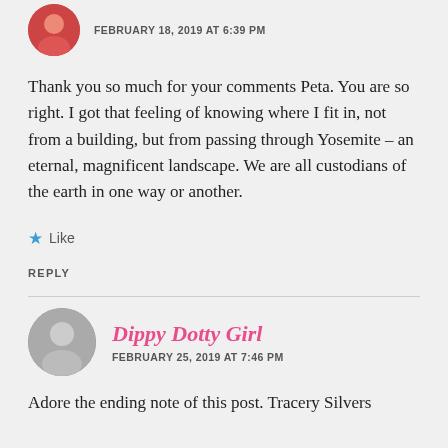[Figure (photo): Circular avatar image (top commenter), appears reddish/pink toned]
FEBRUARY 18, 2019 AT 6:39 PM
Thank you so much for your comments Peta. You are so right. I got that feeling of knowing where I fit in, not from a building, but from passing through Yosemite – an eternal, magnificent landscape. We are all custodians of the earth in one way or another.
Like
REPLY
Dippy Dotty Girl
[Figure (photo): Circular black and white avatar photo of a person]
FEBRUARY 25, 2019 AT 7:46 PM
Adore the ending note of this post. Tracey Silvers